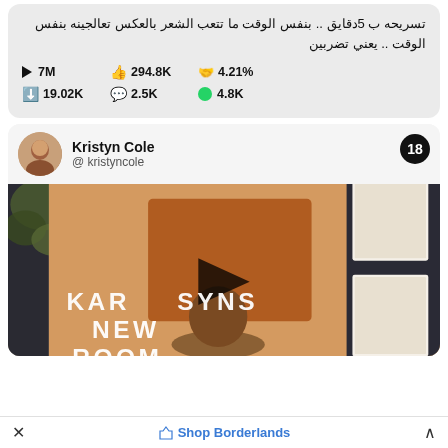تسريحه ب 5دقايق .. بنفس الوقت ما تتعب الشعر بالعكس تعالجينه بنفس الوقت .. يعني تضربين
▶ 7M   👍294.8K   🤝4.21%   ⬇️19.02K   💬2.5K   ✅4.8K
Kristyn Cole @kristyncole
[Figure (screenshot): Video thumbnail showing a room decorated with wall art, plants, and furniture. Text overlay reads KARSYNS NEW ROOM with a play button in the center.]
Shop Borderlands